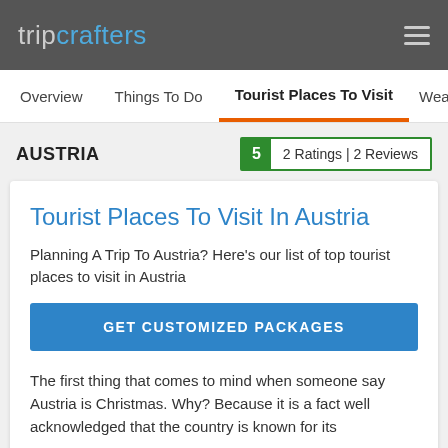tripcrafters
Overview | Things To Do | Tourist Places To Visit | Weather &
AUSTRIA
5   2 Ratings | 2 Reviews
Tourist Places To Visit In Austria
Planning A Trip To Austria? Here's our list of top tourist places to visit in Austria
GET CUSTOMIZED PACKAGES
The first thing that comes to mind when someone say Austria is Christmas. Why? Because it is a fact well acknowledged that the country is known for its